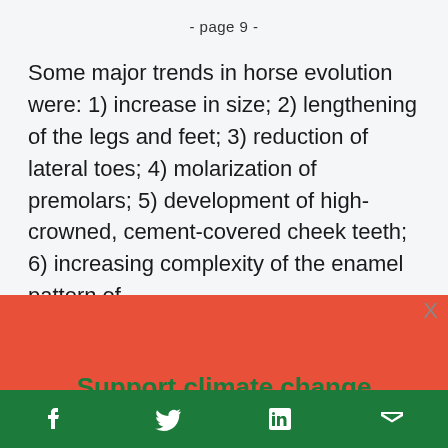- page 9 -
Some major trends in horse evolution were: 1) increase in size; 2) lengthening of the legs and feet; 3) reduction of lateral toes; 4) molarization of premolars; 5) development of high-crowned, cement-covered cheek teeth; 6) increasing complexity of the enamel pattern of
Support climate change
f  twitter  in  email